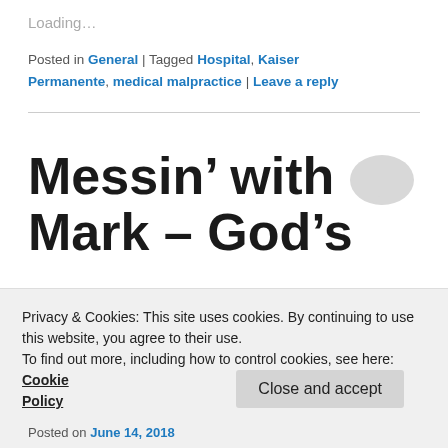Loading...
Posted in General | Tagged Hospital, Kaiser Permanente, medical malpractice | Leave a reply
Messin’ with Mark – God’s Sitcom: Episode
Privacy & Cookies: This site uses cookies. By continuing to use this website, you agree to their use.
To find out more, including how to control cookies, see here: Cookie Policy
Close and accept
Posted on June 14, 2018